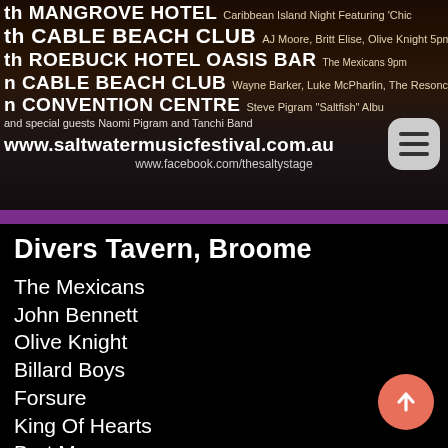[Figure (photo): Festival promotional banner with venue listings and website for Saltwater Music Festival, dark warm-toned background]
Divers Tavern, Broome
The Mexicans
John Bennett
Olive Knight
Billard Boys
Forsure
King Of Hearts
Bart Marr
Henry Skeen
The Cruisers
Emu Rock